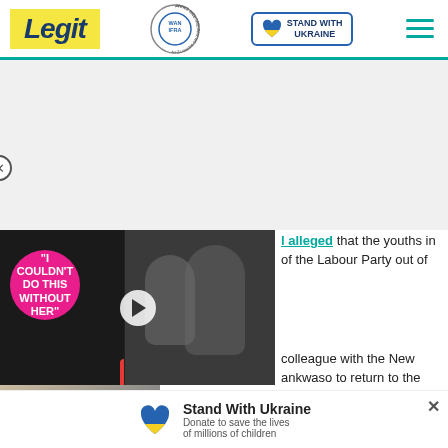Legit — Best News Website in Africa 2021 WAN-IFRA — Stand With Ukraine
[Figure (screenshot): Advertisement placeholder area (gray background)]
[Figure (screenshot): Video popup showing two people; pink speech bubble reading 'I COULDN'T DO THIS WITHOUT HER'; play button; red chevron-down button at bottom]
alleged that the youths in of the Labour Party out of
colleague with the New ankwaso to return to the
[Figure (photo): Person holding child, bottom-left strip image]
Stand With Ukraine — Donate to save the lives of millions of children